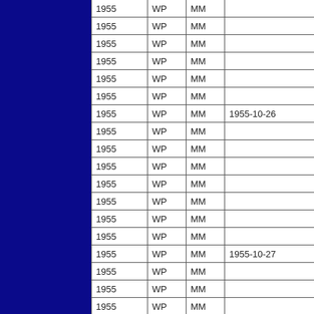| 1955 | WP | MM |  |
| 1955 | WP | MM |  |
| 1955 | WP | MM |  |
| 1955 | WP | MM |  |
| 1955 | WP | MM |  |
| 1955 | WP | MM |  |
| 1955 | WP | MM | 1955-10-26 |
| 1955 | WP | MM |  |
| 1955 | WP | MM |  |
| 1955 | WP | MM |  |
| 1955 | WP | MM |  |
| 1955 | WP | MM |  |
| 1955 | WP | MM |  |
| 1955 | WP | MM |  |
| 1955 | WP | MM | 1955-10-27 |
| 1955 | WP | MM |  |
| 1955 | WP | MM |  |
| 1955 | WP | MM |  |
| 1955 | WP | MM |  |